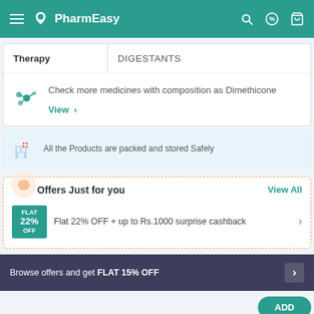PharmEasy
| Therapy | DIGESTANTS |
| --- | --- |
Check more medicines with composition as Dimethicone
View >
All the Products are packed and stored Safely
Offers Just for you
View All
Flat 22% OFF + up to Rs.1000 surprise cashback
Browse offers and get FLAT 15% OFF